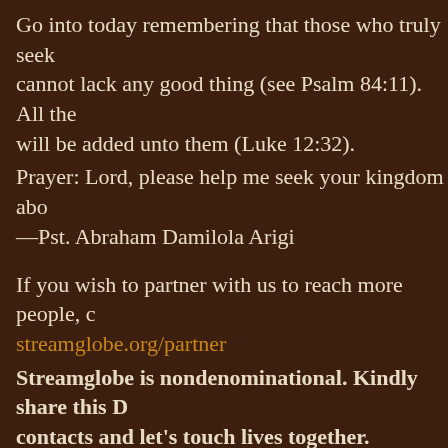Go into today remembering that those who truly seek cannot lack any good thing (see Psalm 84:11). All the will be added unto them (Luke 12:32).
Prayer: Lord, please help me seek your kingdom abo —Pst. Abraham Damilola Arigi
If you wish to partner with us to reach more people, c streamglobe.org/partner
Streamglobe is nondenominational. Kindly share this D contacts and let's touch lives together.
BIBLE IN ONE YEAR: Matthew 1-2
Get free sermons here: streamglobe.org/34
To start getting Streamglobe Devotional Text & Audio our WhatsApp Group here: https://chat.whatsapp.com/BIKv8gQHBSx484yKG7yz